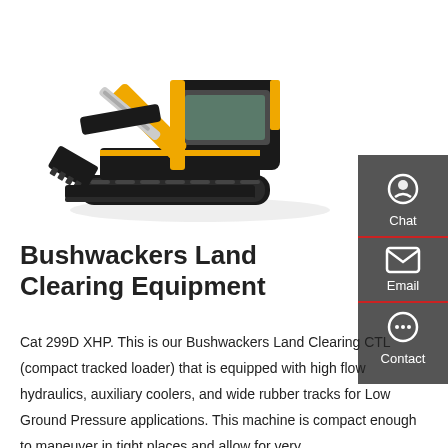[Figure (photo): Yellow and black mini excavator (compact tracked loader) on white background, viewed from front-left angle showing bucket arm raised]
Bushwackers Land Clearing Equipment
Cat 299D XHP. This is our Bushwackers Land Clearing CTL (compact tracked loader) that is equipped with high flow hydraulics, auxiliary coolers, and wide rubber tracks for Low Ground Pressure applications. This machine is compact enough to maneuver in tight places and allow for very